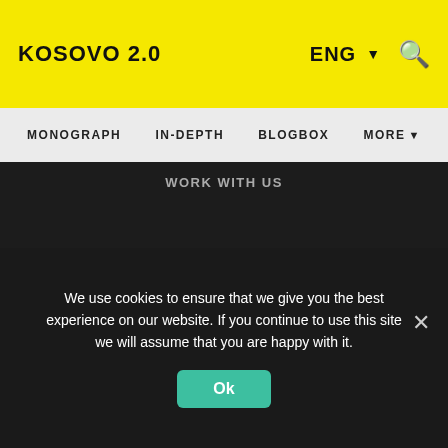KOSOVO 2.0
ENG ▼ 🔍
MONOGRAPH   IN-DEPTH   BLOGBOX   MORE ▼
Work With Us
SUPPORT US
SUBSCRIBE TO K2.0
Buy a magazine
We use cookies to ensure that we give you the best experience on our website. If you continue to use this site we will assume that you are happy with it.